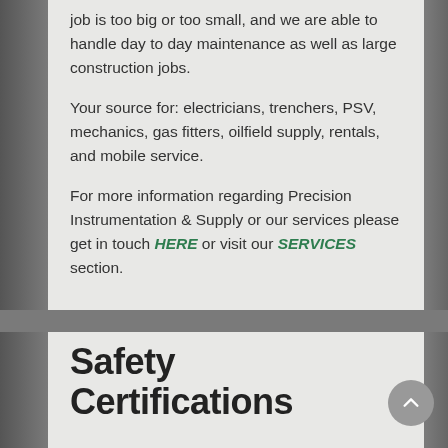job is too big or too small, and we are able to handle day to day maintenance as well as large construction jobs.

Your source for: electricians, trenchers, PSV, mechanics, gas fitters, oilfield supply, rentals, and mobile service.

For more information regarding Precision Instrumentation & Supply or our services please get in touch HERE or visit our SERVICES section.
Safety Certifications